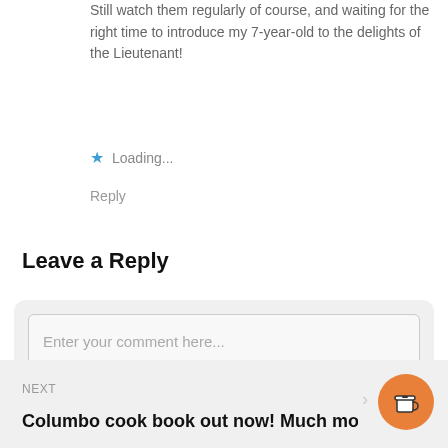Still watch them regularly of course, and waiting for the right time to introduce my 7-year-old to the delights of the Lieutenant!
★ Loading...
Reply
Leave a Reply
Enter your comment here...
NEXT
Columbo cook book out now! Much more than ...